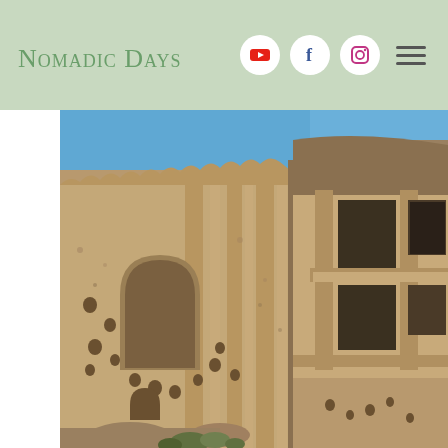Nomadic Days
[Figure (photo): Ancient cave dwellings carved into sandstone rock face in Cappadocia, Turkey. The left side shows a large flat-faced rock wall with carved arched niches, circular holes, and decorative vertical relief carvings. The right side shows a more architectural rock-cut facade with columns, window openings on two levels, and layered horizontal bands. Blue sky visible at top left. Some green vegetation at the very bottom.]